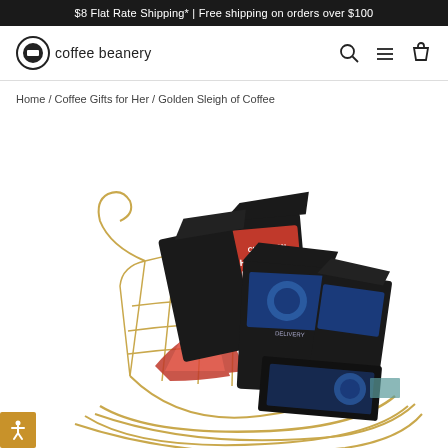$8 Flat Rate Shipping* | Free shipping on orders over $100
[Figure (logo): Coffee Beanery logo with circular icon and text]
Home / Coffee Gifts for Her / Golden Sleigh of Coffee
[Figure (photo): A golden wire sleigh filled with coffee bags including a red Cinnamon Holiday Blend package, blue-labeled coffee bags, and additional coffee products arranged in the decorative sleigh]